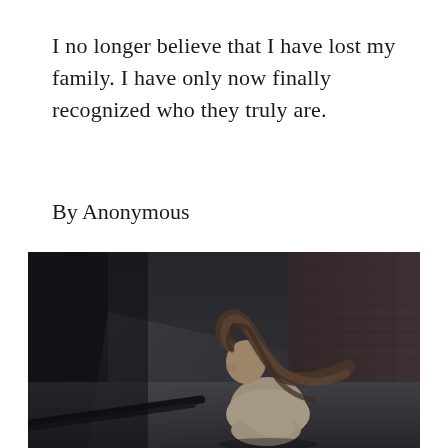I no longer believe that I have lost my family. I have only now finally recognized who they truly are.
By Anonymous
[Figure (photo): A young woman with long hair blowing in the wind, sitting alone on a sidewalk hugging her knees, photographed in a dark moody urban alley with brick walls in the background. Black and white / desaturated tones.]